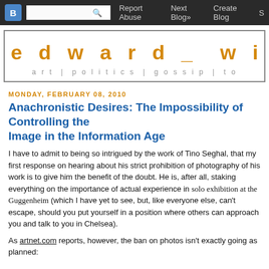Report Abuse | Next Blog» | Create Blog
edward_ wink
art | politics | gossip | to
MONDAY, FEBRUARY 08, 2010
Anachronistic Desires: The Impossibility of Controlling the Image in the Information Age
I have to admit to being so intrigued by the work of Tino Seghal, that my first response on hearing about his strict prohibition of photography of his work is to give him the benefit of the doubt. He is, after all, staking everything on the importance of actual experience in exhibitions like his current solo exhibition at the Guggenheim (which I have yet to see, but, like everyone else, can't escape, should you put yourself in a position where others can approach you and talk to you in Chelsea).
As artnet.com reports, however, the ban on photos isn't exactly going as planned: